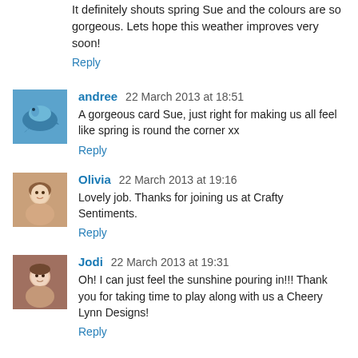It definitely shouts spring Sue and the colours are so gorgeous. Lets hope this weather improves very soon!
Reply
andree 22 March 2013 at 18:51
A gorgeous card Sue, just right for making us all feel like spring is round the corner xx
Reply
Olivia 22 March 2013 at 19:16
Lovely job. Thanks for joining us at Crafty Sentiments.
Reply
Jodi 22 March 2013 at 19:31
Oh! I can just feel the sunshine pouring in!!! Thank you for taking time to play along with us a Cheery Lynn Designs!
Reply